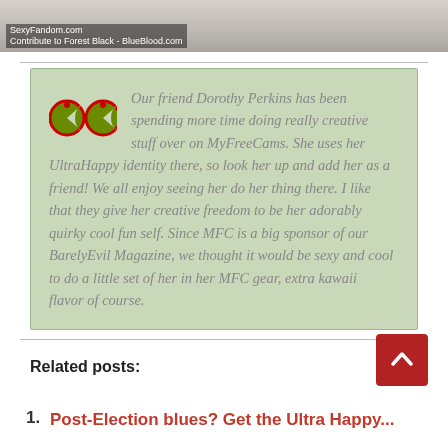[Figure (photo): Top strip of a photo showing a person in a white fluffy costume or outfit, cropped. Watermark text: 'SexyFandom.com' and 'Contribute to Forest Black - BlueBlood.com']
Our friend Dorothy Perkins has been spending more time doing really creative stuff over on MyFreeCams. She uses her UltraHappy identity there, so look her up and add her as a friend! We all enjoy seeing her do her thing there. I like that they give her creative freedom to be her adorably quirky cool fun self. Since MFC is a big sponsor of our BarelyEvil Magazine, we thought it would be sexy and cool to do a little set of her in her MFC gear, extra kawaii flavor of course.
Related posts:
Post-Election blues? Get the Ultra Happy...